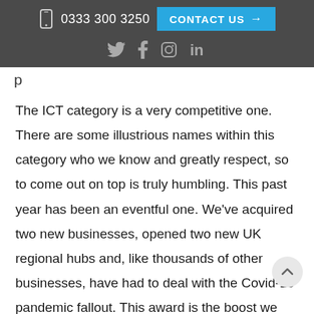0333 300 3250   CONTACT US →
social icons: Twitter, Facebook, Instagram, LinkedIn
p
The ICT category is a very competitive one. There are some illustrious names within this category who we know and greatly respect, so to come out on top is truly humbling. This past year has been an eventful one. We've acquired two new businesses, opened two new UK regional hubs and, like thousands of other businesses, have had to deal with the Covid-19 pandemic fallout. This award is the boost we need as we come through the pandemic and now really look forward